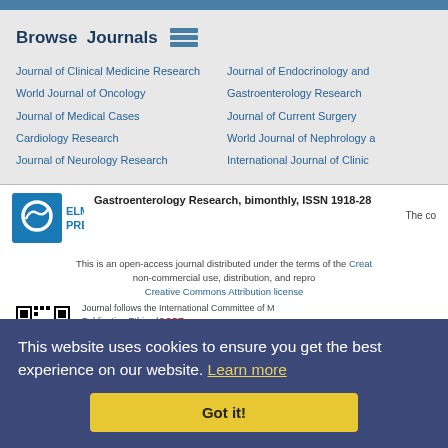Browse Journals
Journal of Clinical Medicine Research
Journal of Endocrinology and
World Journal of Oncology
Gastroenterology Research
Journal of Medical Cases
Journal of Current Surgery
Cardiology Research
World Journal of Nephrology a
Journal of Neurology Research
International Journal of Clinic
[Figure (logo): Elmer Press logo with blue circular wave icon and text ELMER PRESS]
Gastroenterology Research, bimonthly, ISSN 1918-28
The co
This is an open-access journal distributed under the terms of the Creat non-commercial use, distribution, and repro Creative Commons Attribution license
Journal follows the International Committee of M Publication Ethics (COPE website: w Address: 9225 Le
This website uses cookies to ensure you get the best experience on our website. Learn more
Got it!